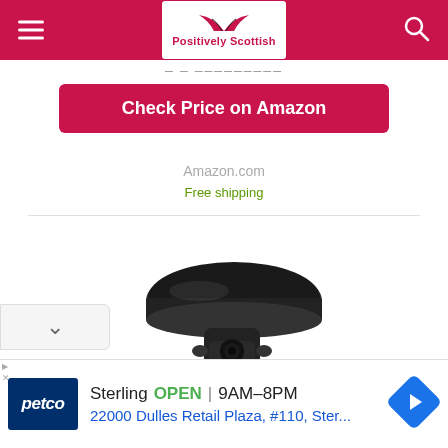Positively Scottish
Check Price on Amazon
Amazon.com
Free shipping
[Figure (photo): A black dash camera or similar round puck-shaped device with a flat circular top and a mounting bracket/lens assembly at the bottom]
[Figure (infographic): Advertisement bar: Petco logo, Sterling OPEN 9AM-8PM, 22000 Dulles Retail Plaza, #110, Ster... with a blue navigation arrow icon]